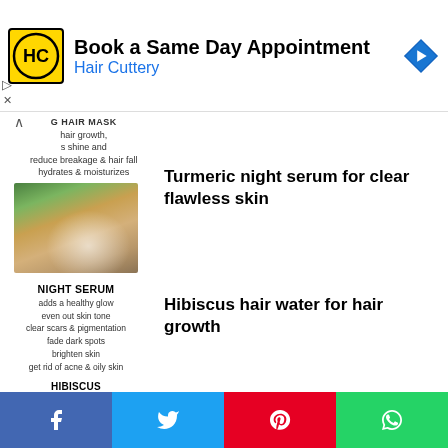[Figure (screenshot): Hair Cuttery advertisement banner with logo, 'Book a Same Day Appointment' headline, and navigation arrow icon]
G HAIR MASK
hair growth,
s shine and
reduce breakage & hair fall
hydrates & moisturizes
[Figure (photo): Hair mask product photo showing aloe vera, bowl of cream, wooden comb, scissors on wooden board]
NIGHT SERUM
adds a healthy glow
even out skin tone
clear scars & pigmentation
fade dark spots
brighten skin
get rid of acne & oily skin
Turmeric night serum for clear flawless skin
HIBISCUS
HAIR WATER
add moisture back into hair
add volume and bounce
re-hydrate dry hair and
reduce hair fall
boost hair growth and
make hair shinier and thicker
Hibiscus hair water for hair growth
[Figure (infographic): Social share bar with Facebook, Twitter, Pinterest, WhatsApp buttons]